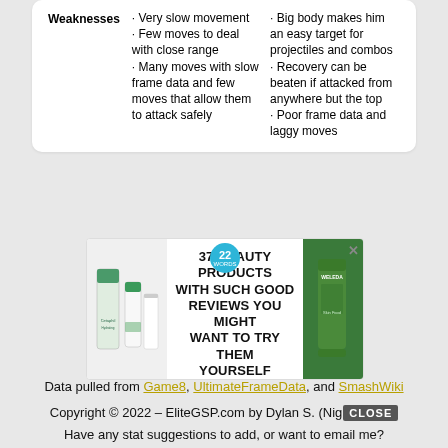|  | Column 1 | Column 2 |
| --- | --- | --- |
| Weaknesses | · Very slow movement
· Few moves to deal with close range
· Many moves with slow frame data and few moves that allow them to attack safely | · Big body makes him an easy target for projectiles and combos
· Recovery can be beaten if attacked from anywhere but the top
· Poor frame data and laggy moves |
[Figure (infographic): Advertisement banner: Cetaphil and Weleda skincare products with text '37 BEAUTY PRODUCTS WITH SUCH GOOD REVIEWS YOU MIGHT WANT TO TRY THEM YOURSELF' and a circular badge saying '22 words']
Data pulled from Game8, UltimateFrameData, and SmashWiki
Copyright © 2022 – EliteGSP.com by Dylan S. (NightlO8)
Have any stat suggestions to add, or want to email me?
admin@elitegsp.com